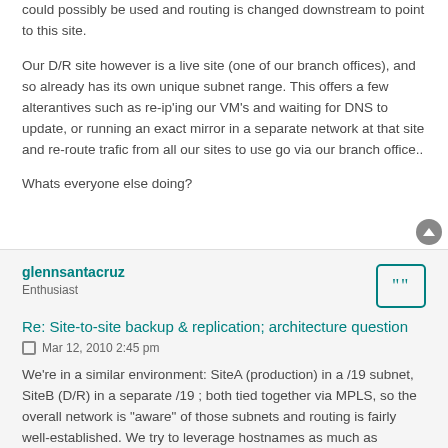could possibly be used and routing is changed downstream to point to this site.
Our D/R site however is a live site (one of our branch offices), and so already has its own unique subnet range. This offers a few alterantives such as re-ip'ing our VM's and waiting for DNS to update, or running an exact mirror in a separate network at that site and re-route trafic from all our sites to use go via our branch office..
Whats everyone else doing?
glennsantacruz
Enthusiast
Re: Site-to-site backup & replication; architecture question
Mar 12, 2010 2:45 pm
We're in a similar environment: SiteA (production) in a /19 subnet, SiteB (D/R) in a separate /19 ; both tied together via MPLS, so the overall network is "aware" of those subnets and routing is fairly well-established. We try to leverage hostnames as much as possible, so a machine movement